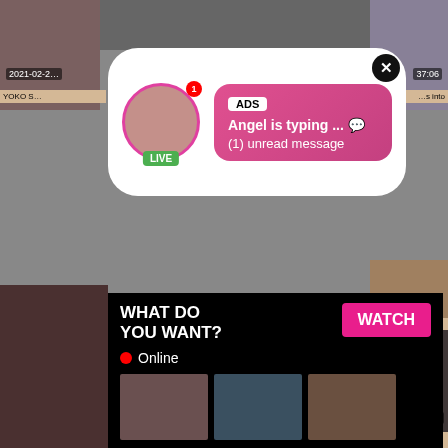[Figure (screenshot): Adult video thumbnail grid with advertising popups. Top-left thumbnail shows date 2021-02-[x] and title starting YOKO S. Top-right area shows timestamp 37:06. Center-left large video. Overlay popup 1: notification bubble with ADS label, 'Angel is typing ... [emoji]', '(1) unread message', LIVE badge, close button. Overlay popup 2: black box 'WHAT DO YOU WANT?' with WATCH button, Online indicator, three thumbnails, text 'Cumming, ass fucking, squirt or...' and ADS label. Bottom-left thumbnail: 2021-03-04, 21:00, 'French Nadine Dogging in the Parking'. Bottom-right thumbnail: 2021-03-01, 41:12, 'Bridgette B - full headphone experience'. Mid-right thumbnail: 17:07.]